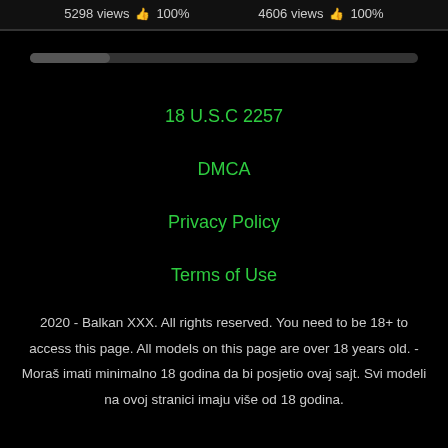5298 views 100%   4606 views 100%
18 U.S.C 2257
DMCA
Privacy Policy
Terms of Use
2020 - Balkan XXX. All rights reserved. You need to be 18+ to access this page. All models on this page are over 18 years old. - Moraš imati minimalno 18 godina da bi posjetio ovaj sajt. Svi modeli na ovoj stranici imaju više od 18 godina.